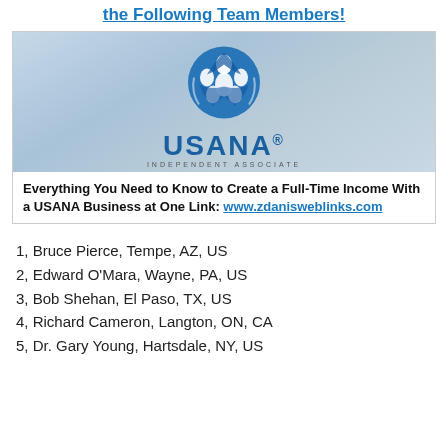the Following Team Members!
[Figure (logo): USANA Independent Associate logo with globe made of human figures, blue on light blue background. Text below logo: 'Everything You Need to Know to Create a Full-Time Income With a USANA Business at One Link: www.zdanisweblinks.com']
1, Bruce Pierce, Tempe, AZ, US
2, Edward O'Mara, Wayne, PA, US
3, Bob Shehan, El Paso, TX, US
4, Richard Cameron, Langton, ON, CA
5, Dr. Gary Young, Hartsdale, NY, US